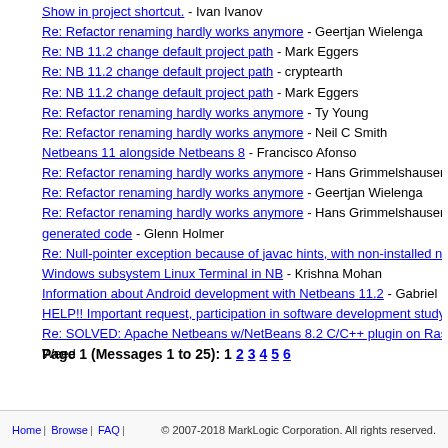Show in project shortcut. - Ivan Ivanov
Re: Refactor renaming hardly works anymore - Geertjan Wielenga
Re: NB 11.2 change default project path - Mark Eggers
Re: NB 11.2 change default project path - cryptearth
Re: NB 11.2 change default project path - Mark Eggers
Re: Refactor renaming hardly works anymore - Ty Young
Re: Refactor renaming hardly works anymore - Neil C Smith
Netbeans 11 alongside Netbeans 8 - Francisco Afonso
Re: Refactor renaming hardly works anymore - Hans Grimmelshausen
Re: Refactor renaming hardly works anymore - Geertjan Wielenga
Re: Refactor renaming hardly works anymore - Hans Grimmelshausen
generated code - Glenn Holmer
Re: Null-pointer exception because of javac hints, with non-installed nb
Windows subsystem Linux Terminal in NB - Krishna Mohan
Information about Android development with Netbeans 11.2 - Gabriel M
HELP!! Important request, participation in software development study
Re: SOLVED: Apache Netbeans w/NetBeans 8.2 C/C++ plugin on Rasp
Weed
Page 1 (Messages 1 to 25): 1 2 3 4 5 6
Home | Browse | FAQ | © 2007-2018 MarkLogic Corporation. All rights reserved.